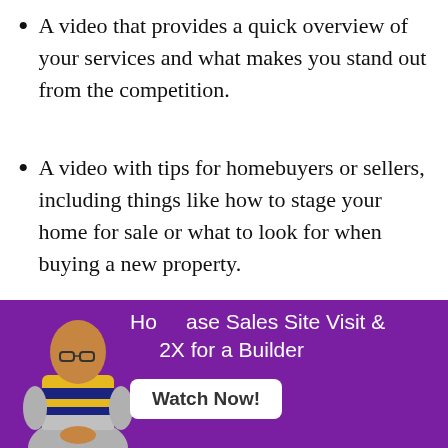A video that provides a quick overview of your services and what makes you stand out from the competition.
A video with tips for homebuyers or sellers, including things like how to stage your home for sale or what to look for when buying a new property.
A video that introduces your team
[Figure (photo): A man in a yellow and navy striped sweater, bald with glasses, standing with hands clasped in front of a purple background. Overlaid with a banner showing text about how to increase Sales Site Visit & 2X for a Builder, with a Watch Now button.]
How to Increase Sales Site Visit & 2X for a Builder
Watch Now!